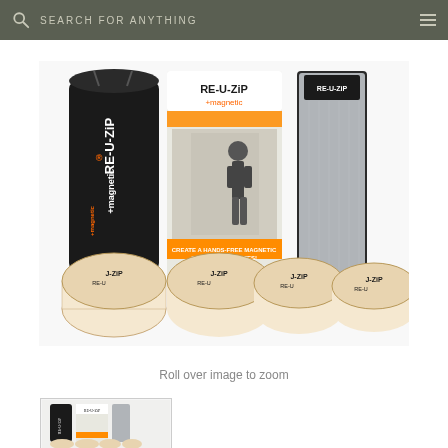SEARCH FOR ANYTHING
[Figure (photo): RE-U-ZIP +magnetic product kit showing a black drawstring bag with RE-U-ZIP branding, retail packaging box for RE-U-ZIP magnetic door screen, a grey folded panel, and four rolls of J-ZIP RE-U tape at the front. Text on packaging reads 'CREATE A HANDS-FREE MAGNETIC OPENING IN MINUTES!']
Roll over image to zoom
[Figure (photo): Thumbnail of the RE-U-ZIP product kit showing the same items as the main product image]